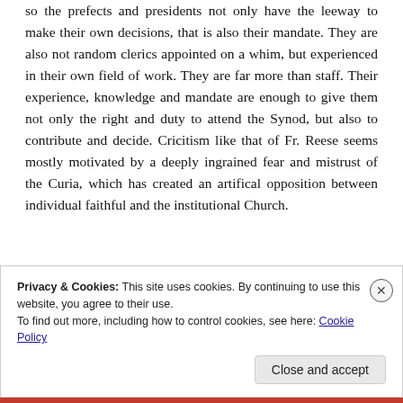so the prefects and presidents not only have the leeway to make their own decisions, that is also their mandate. They are also not random clerics appointed on a whim, but experienced in their own field of work. They are far more than staff. Their experience, knowledge and mandate are enough to give them not only the right and duty to attend the Synod, but also to contribute and decide. Cricitism like that of Fr. Reese seems mostly motivated by a deeply ingrained fear and mistrust of the Curia, which has created an artifical opposition between individual faithful and the institutional Church.
Privacy & Cookies: This site uses cookies. By continuing to use this website, you agree to their use.
To find out more, including how to control cookies, see here: Cookie Policy
Close and accept